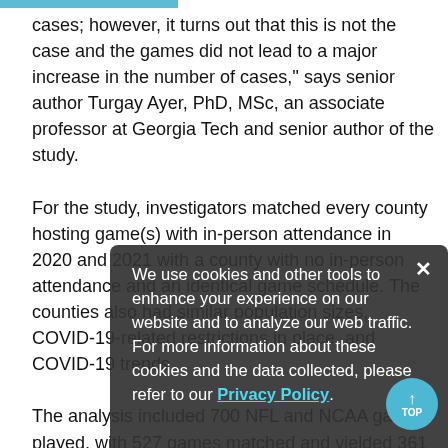cases; however, it turns out that this is not the case and the games did not lead to a major increase in the number of cases," says senior author Turgay Ayer, PhD, MSc, an associate professor at Georgia Tech and senior author of the study.

For the study, investigators matched every county hosting game(s) with in-person attendance in 2020 and 2021 with a county with no in-person attendance and an identical game schedule. The counties also had similar population sizes, COVID-19-related restrictions in place, and COVID-19 trends.

The analysis included 700 NFL and NCAA games played, with 527 games matched and yielded 361 matched sets. The effect of in-person attendance at NFL and NCAA games on community COVID-19 spread was not significant as it did
[Figure (screenshot): Cookie consent modal overlay with dark semi-transparent background. Text reads: 'We use cookies and other tools to enhance your experience on our website and to analyze our web traffic. For more information about these cookies and the data collected, please refer to our Privacy Policy.' Privacy Policy is a teal/cyan colored hyperlink. A close button (×) appears in the top right corner. A teal circular 'TOP' button with an upward arrow appears in the bottom right.]